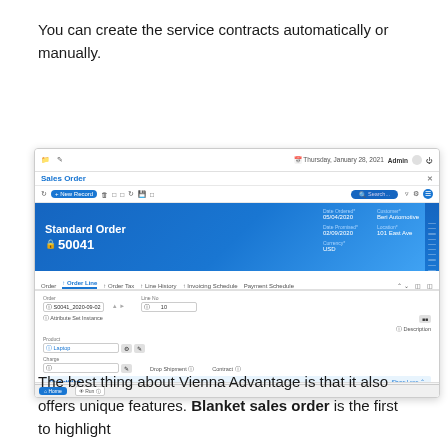You can create the service contracts automatically or manually.
[Figure (screenshot): Screenshot of Vienna Advantage ERP Sales Order form showing Standard Order 50041 with order lines, quantities section, and amounts section]
The best thing about Vienna Advantage is that it also offers unique features. Blanket sales order is the first to highlight